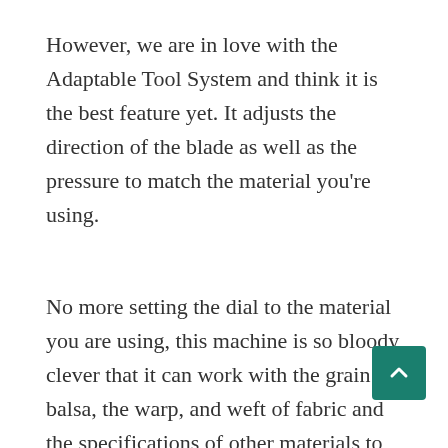However, we are in love with the Adaptable Tool System and think it is the best feature yet. It adjusts the direction of the blade as well as the pressure to match the material you're using.
No more setting the dial to the material you are using, this machine is so bloody clever that it can work with the grain of balsa, the warp, and weft of fabric and the specifications of other materials to preserve the crispness of the lines...